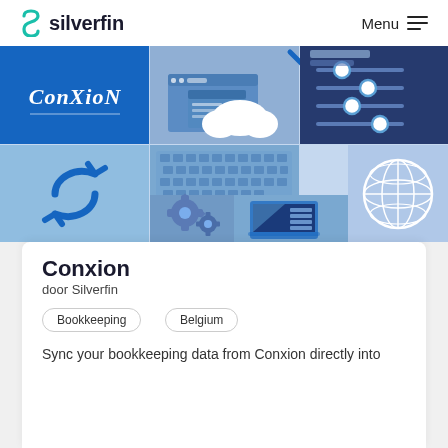silverfin    Menu
[Figure (illustration): Conxion product banner illustration showing a grid of blue-themed panels: top-left blue panel with cursive 'ConXioN' logo text; middle panel with cloud and browser window icons; top-right panel with slider/settings controls; bottom-left panel with circular sync arrows icon; bottom-middle-left panel with gear icons; bottom-middle-right panel with laptop/server graphic; bottom-right panel with globe/network icon. All in shades of blue and white.]
Conxion
door Silverfin
Bookkeeping
Belgium
Sync your bookkeeping data from Conxion directly into